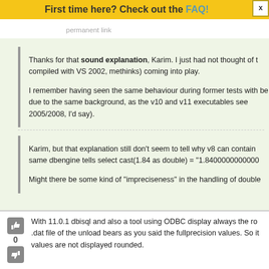First time here? Check out the FAQ!
permanent link
Thanks for that sound explanation, Karim. I just had not thought of t compiled with VS 2002, methinks) coming into play.

I remember having seen the same behaviour during former tests with be due to the same background, as the v10 and v11 executables see 2005/2008, I'd say).
Karim, but that explanation still don't seem to tell why v8 can contain same dbengine tells select cast(1.84 as double) = "1.8400000000000...

Might there be some kind of "impreciseness" in the handling of double
With 11.0.1 dbisql and also a tool using ODBC display always the ro .dat file of the unload bears as you said the fullprecision values. So it values are not displayed rounded.